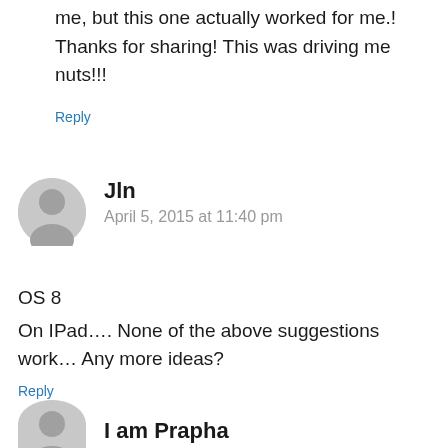me, but this one actually worked for me.! Thanks for sharing! This was driving me nuts!!!
Reply
Jln
April 5, 2015 at 11:40 pm
OS 8
On IPad…. None of the above suggestions work… Any more ideas?
Reply
I am Prapha